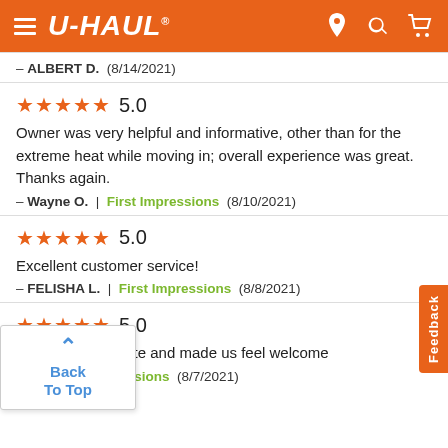U-HAUL header navigation
— ALBERT D.  (8/14/2021)
★★★★★ 5.0
Owner was very helpful and informative, other than for the extreme heat while moving in; overall experience was great. Thanks again.
— Wayne O.  |  First Impressions  (8/10/2021)
★★★★★ 5.0
Excellent customer service!
— FELISHA L.  |  First Impressions  (8/8/2021)
★★★★★ 5.0
...e friendly and polite and made us feel welcome
...J.  |  First Impressions  (8/7/2021)
Back To Top
Feedback